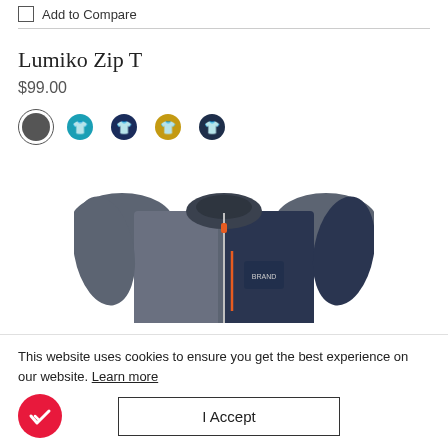Add to Compare
Lumiko Zip T
$99.00
[Figure (photo): Product photo of a dark grey/navy zip-up fleece jacket (Lumiko Zip T) with orange zipper pull and brand logo on chest]
This website uses cookies to ensure you get the best experience on our website. Learn more
I Accept